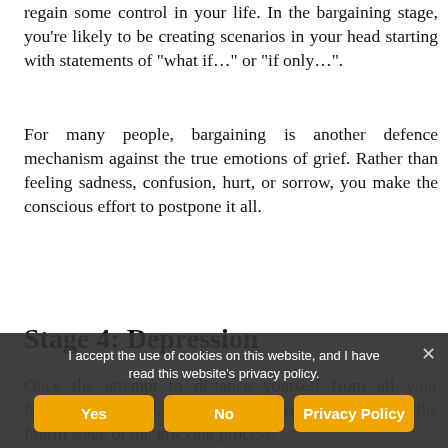regain some control in your life. In the bargaining stage, you're likely to be creating scenarios in your head starting with statements of “what if…” or “if only…”.
For many people, bargaining is another defence mechanism against the true emotions of grief. Rather than feeling sadness, confusion, hurt, or sorrow, you make the conscious effort to postpone it all.
Stage 4: Depression
Once the attempt to distance yourself from all your feelings has ended, depression may run its course. As the fourth stage of the grieving process,